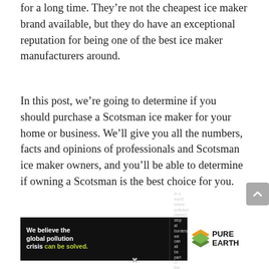for a long time. They’re not the cheapest ice maker brand available, but they do have an exceptional reputation for being one of the best ice maker manufacturers around.
In this post, we’re going to determine if you should purchase a Scotsman ice maker for your home or business. We’ll give you all the numbers, facts and opinions of professionals and Scotsman ice maker owners, and you’ll be able to determine if owning a Scotsman is the best choice for you.
[Figure (infographic): Pure Earth advertisement banner: dark background with text 'We believe the global pollution crisis can be solved.' with 'can be solved.' in green/yellow. Right section says 'In a world where pollution doesn’t stop at borders, we can all be part of the solution.' and 'JOIN US.' in gold. Pure Earth logo with diamond shapes on white background.]